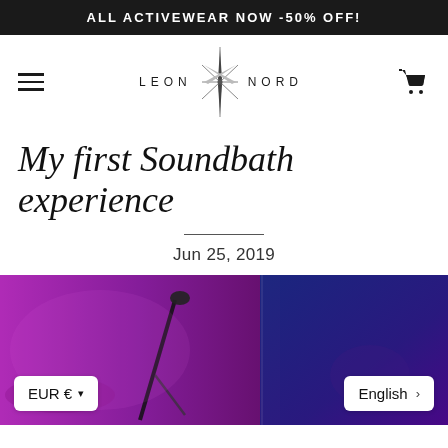ALL ACTIVEWEAR NOW -50% OFF!
[Figure (logo): Leon Nord brand logo with star/asterisk symbol between LEON and NORD text]
My first Soundbath experience
Jun 25, 2019
[Figure (photo): Photo of a soundbath setup with musical instruments under purple/violet lighting. A microphone stand is visible in the foreground.]